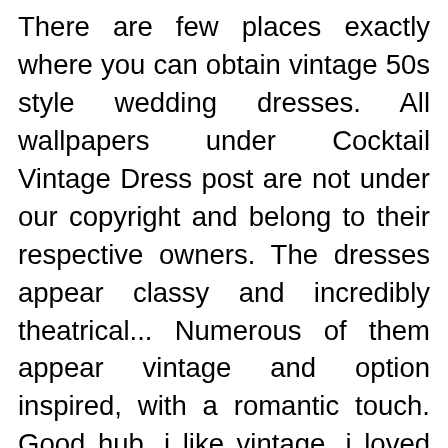There are few places exactly where you can obtain vintage 50s style wedding dresses. All wallpapers under Cocktail Vintage Dress post are not under our copyright and belong to their respective owners. The dresses appear classy and incredibly theatrical... Numerous of them appear vintage and option inspired, with a romantic touch. Good hub, i like vintage, i loved your hub thanks for providing us a appear at this amazing vintage collection. There is also a second typical type of the jacket dress that features a short jacket, which resembles a blazer, more than a uncomplicated, columnar formal dress. These clothing are not totally vintage, they are